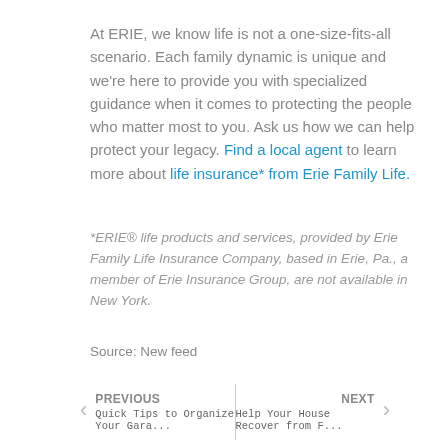At ERIE, we know life is not a one-size-fits-all scenario. Each family dynamic is unique and we're here to provide you with specialized guidance when it comes to protecting the people who matter most to you. Ask us how we can help protect your legacy. Find a local agent to learn more about life insurance* from Erie Family Life.
*ERIE® life products and services, provided by Erie Family Life Insurance Company, based in Erie, Pa., a member of Erie Insurance Group, are not available in New York.
Source: New feed
PREVIOUS
Quick Tips to Organize Your Gara...
NEXT
Help Your House Recover from F...